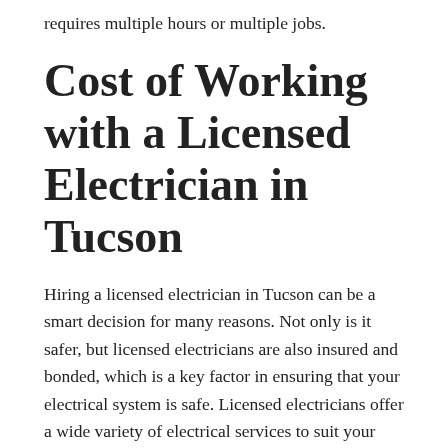requires multiple hours or multiple jobs.
Cost of Working with a Licensed Electrician in Tucson
Hiring a licensed electrician in Tucson can be a smart decision for many reasons. Not only is it safer, but licensed electricians are also insured and bonded, which is a key factor in ensuring that your electrical system is safe. Licensed electricians offer a wide variety of electrical services to suit your needs and budget. Some Tucson electrical companies offer free quotes for your electrical project. Here’s how to choose the right electrician for your needs:
An electrician’s licensing grade is a good indicator of their